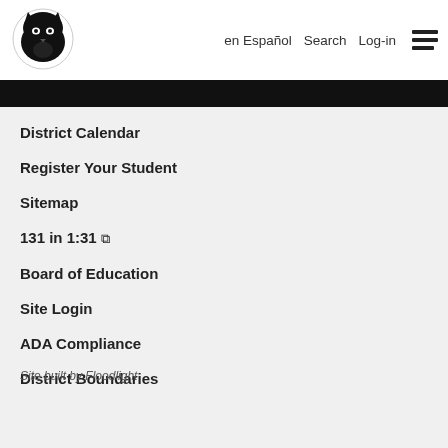[Figure (logo): Black panther mascot head logo in black and white]
en Español  Search  Log-in  ☰
District Calendar
Register Your Student
Sitemap
131 in 1:31 ↗
Board of Education
Site Login
ADA Compliance
District Boundaries
Site built by Floodlight